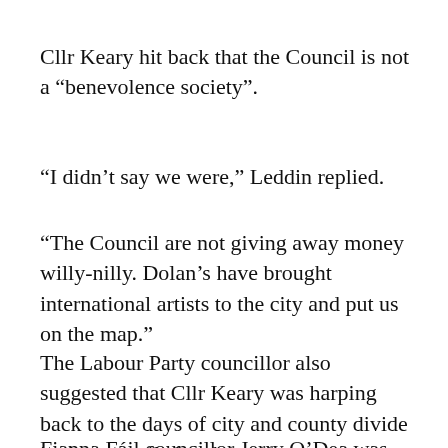Cllr Keary hit back that the Council is not a “benevolence society”.
“I didn’t say we were,” Leddin replied.
“The Council are not giving away money willy-nilly. Dolan’s have brought international artists to the city and put us on the map.”
The Labour Party councillor also suggested that Cllr Keary was harping back to the days of city and county divide in the council chamber.
Fianna Fáil councillor Jerry O’Dea was also of the